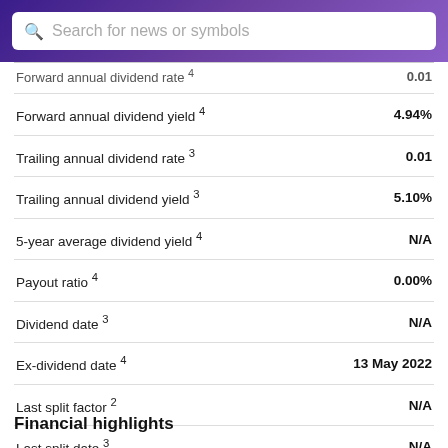Search for news or symbols
| Label | Value |
| --- | --- |
| Forward annual dividend rate 4 | 0.01 |
| Forward annual dividend yield 4 | 4.94% |
| Trailing annual dividend rate 3 | 0.01 |
| Trailing annual dividend yield 3 | 5.10% |
| 5-year average dividend yield 4 | N/A |
| Payout ratio 4 | 0.00% |
| Dividend date 3 | N/A |
| Ex-dividend date 4 | 13 May 2022 |
| Last split factor 2 | N/A |
| Last split date 3 | N/A |
Financial highlights